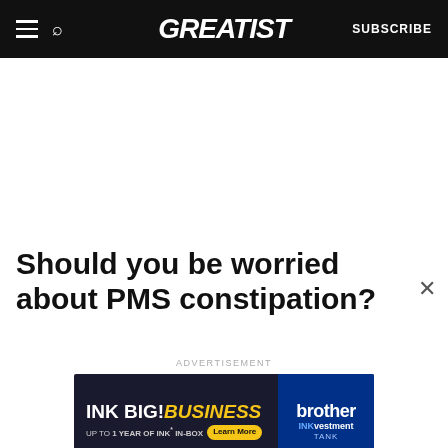GREATIST  SUBSCRIBE
Should you be worried about PMS constipation?
[Figure (screenshot): Brother INKvestment Tank advertisement banner: 'INK BIG! BUSINESS UP TO 1 YEAR OF INK* IN-BOX Learn More' on left with dark background, Brother INKvestment Tank logo on blue right panel]
ADVERTISEMENT